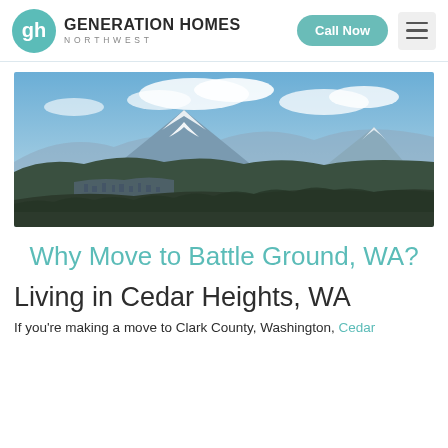GENERATION HOMES NORTHWEST
[Figure (photo): Panoramic landscape photo showing a snow-capped mountain (likely Mount St. Helens or Mount Adams) with blue sky, clouds, and rolling forested hills in the foreground with a small town visible.]
Why Move to Battle Ground, WA?
Living in Cedar Heights, WA
If you're making a move to Clark County, Washington, Cedar...